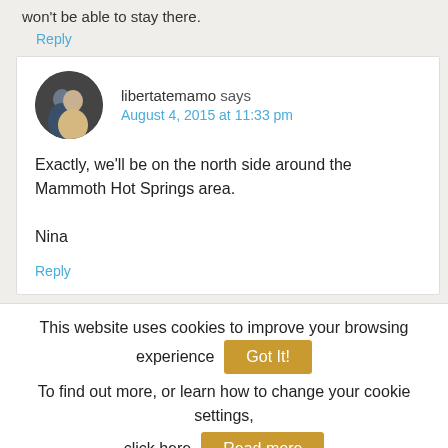won't be able to stay there.
Reply
libertatemamo says
August 4, 2015 at 11:33 pm
Exactly, we'll be on the north side around the Mammoth Hot Springs area.

Nina
Reply
This website uses cookies to improve your browsing experience  Got It!
To find out more, or learn how to change your cookie settings, click here  Read more